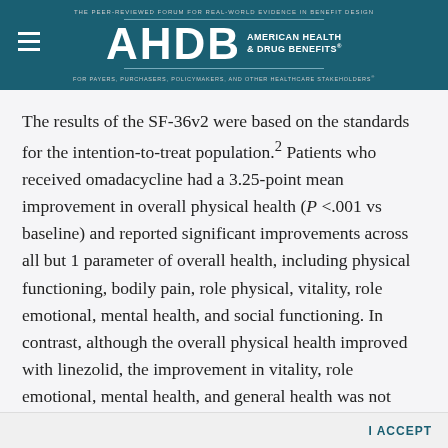AHDB AMERICAN HEALTH & DRUG BENEFITS — THE PEER-REVIEWED FORUM FOR REAL-WORLD EVIDENCE IN BENEFIT DESIGN
The results of the SF-36v2 were based on the standards for the intention-to-treat population.² Patients who received omadacycline had a 3.25-point mean improvement in overall physical health (P <.001 vs baseline) and reported significant improvements across all but 1 parameter of overall health, including physical functioning, bodily pain, role physical, vitality, role emotional, mental health, and social functioning. In contrast, although the overall physical health improved with linezolid, the improvement in vitality, role emotional, mental health, and general health was not significant. Patients who received omadacycline achieved a greater improvement from baseline than linezolid...
I ACCEPT